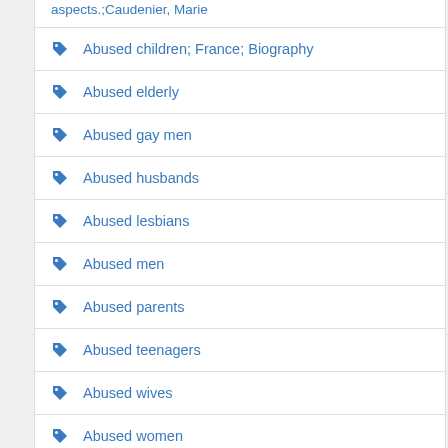aspects.;Caudenier, Marie
Abused children; France; Biography
Abused elderly
Abused gay men
Abused husbands
Abused lesbians
Abused men
Abused parents
Abused teenagers
Abused wives
Abused women